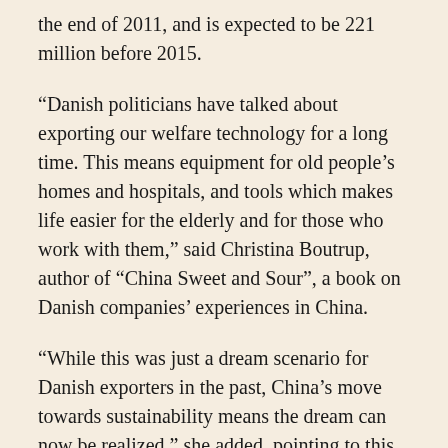the end of 2011, and is expected to be 221 million before 2015.
“Danish politicians have talked about exporting our welfare technology for a long time. This means equipment for old people’s homes and hospitals, and tools which makes life easier for the elderly and for those who work with them,” said Christina Boutrup, author of “China Sweet and Sour”, a book on Danish companies’ experiences in China.
“While this was just a dream scenario for Danish exporters in the past, China’s move towards sustainability means the dream can now be realized,” she added, pointing to this burgeoning area of business collaboration.
Although Danish companies can face “fierce competition from local players” when marketing welfare or energy technologies in China, Boutrup believes they hold a competitive edge as they can meet China’s increasingly tighter environmental regulations, “even if they are more